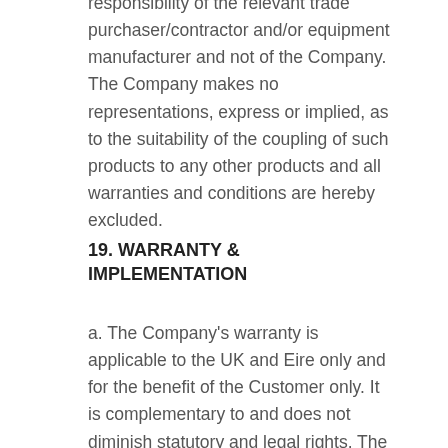responsibility of the relevant trade purchaser/contractor and/or equipment manufacturer and not of the Company. The Company makes no representations, express or implied, as to the suitability of the coupling of such products to any other products and all warranties and conditions are hereby excluded.
19. WARRANTY & IMPLEMENTATION
a. The Company's warranty is applicable to the UK and Eire only and for the benefit of the Customer only. It is complementary to and does not diminish statutory and legal rights. The Company will expect reasonable